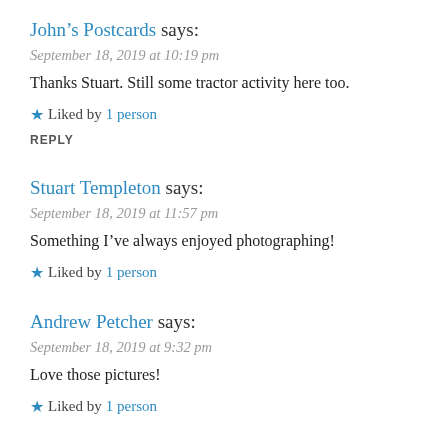John's Postcards says:
September 18, 2019 at 10:19 pm
Thanks Stuart. Still some tractor activity here too.
★ Liked by 1 person
REPLY
Stuart Templeton says:
September 18, 2019 at 11:57 pm
Something I've always enjoyed photographing!
★ Liked by 1 person
Andrew Petcher says:
September 18, 2019 at 9:32 pm
Love those pictures!
★ Liked by 1 person